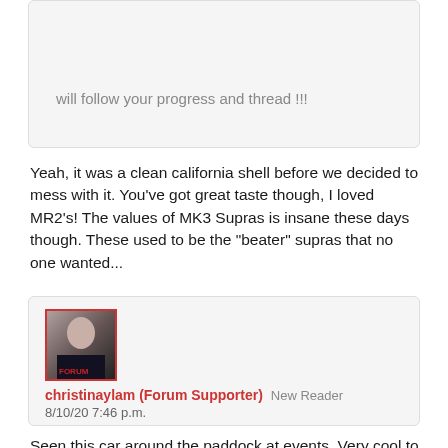will follow your progress and thread !!!
Yeah, it was a clean california shell before we decided to mess with it. You've got great taste though, I loved MR2's! The values of MK3 Supras is insane these days though. These used to be the "beater" supras that no one wanted...
christinaylam (Forum Supporter)  New Reader
8/10/20 7:46 p.m.
Seen this car around the paddock at events. Very cool to see the evolution of the car over the years. You guys really